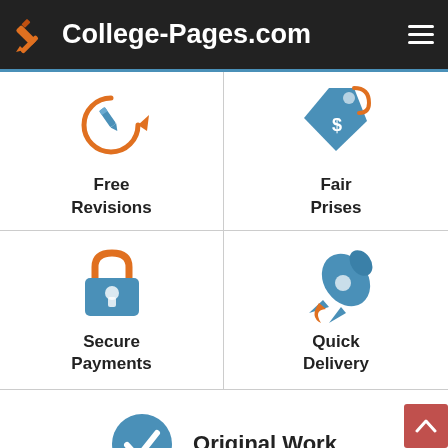College-Pages.com
[Figure (infographic): Four feature icons in a 2x2 grid plus one full-width row: Free Revisions (circular arrow with pencil), Fair Prises (price tag with dollar sign), Secure Payments (padlock), Quick Delivery (rocket), Original Work (blue circle with checkmark).]
Free Revisions
Fair Prises
Secure Payments
Quick Delivery
Original Work